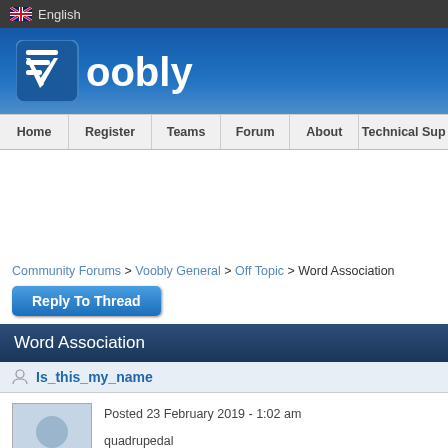English
[Figure (logo): Voobly logo — white stylized V icon on blue square background, with 'oobly' text in white]
Home | Register | Teams | Forum | About | Technical Support
Community Forums > Voobly General > Off Topic > Word Association
Reply To Thread
Word Association
Is_this_my_name
Posted 23 February 2019 - 1:02 am
quadrupedal